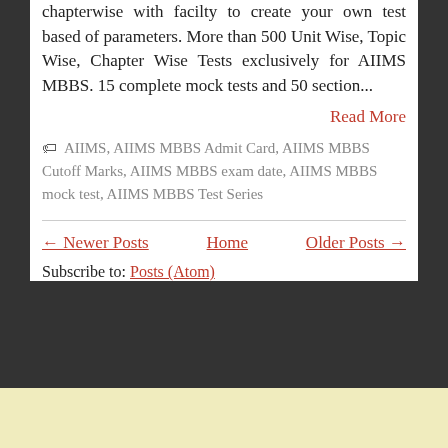chapterwise with facilty to create your own test based of parameters. More than 500 Unit Wise, Topic Wise, Chapter Wise Tests exclusively for AIIMS MBBS. 15 complete mock tests and 50 section...
Read More
AIIMS, AIIMS MBBS Admit Card, AIIMS MBBS Cutoff Marks, AIIMS MBBS exam date, AIIMS MBBS mock test, AIIMS MBBS Test Series
← Newer Posts   Home   Older Posts →
Subscribe to: Posts (Atom)